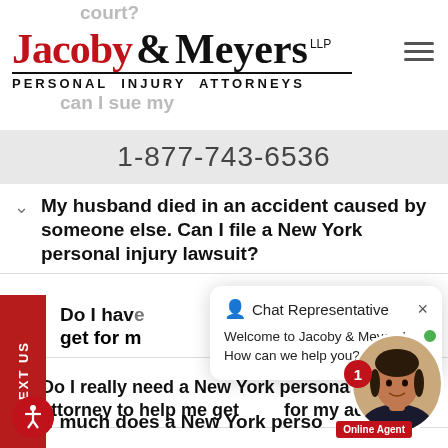court?
[Figure (logo): Jacoby & Meyers LLP Personal Injury Attorneys logo with red Jacoby text and black Meyers text]
1-877-743-6536
My husband died in an accident caused by someone else. Can I file a New York personal injury lawsuit?
Do I have... get for m...
[Figure (screenshot): Chat Representative popup: Welcome to Jacoby & Meyers! How can we help you?]
Do I really need a New York personal injury attorney to help me get ... for my accident?
How much does a New York perso...